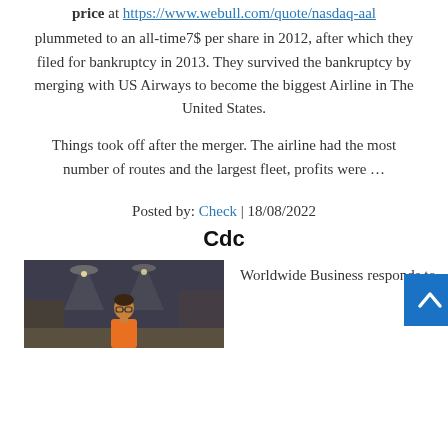price at https://www.webull.com/quote/nasdaq-aal plummeted to an all-time7$ per share in 2012, after which they filed for bankruptcy in 2013. They survived the bankruptcy by merging with US Airways to become the biggest Airline in The United States.
Things took off after the merger. The airline had the most number of routes and the largest fleet, profits were ...
Posted by: Check | 18/08/2022
Cdc
[Figure (photo): Photo of a young person with glasses in an indoor restaurant/bar setting with ceiling lights]
Worldwide Business responds to